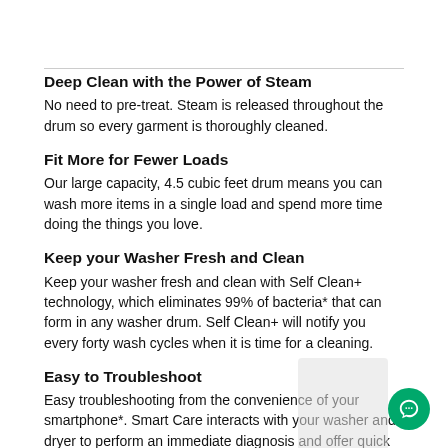Deep Clean with the Power of Steam
No need to pre-treat. Steam is released throughout the drum so every garment is thoroughly cleaned.
Fit More for Fewer Loads
Our large capacity, 4.5 cubic feet drum means you can wash more items in a single load and spend more time doing the things you love.
Keep your Washer Fresh and Clean
Keep your washer fresh and clean with Self Clean+ technology, which eliminates 99% of bacteria* that can form in any washer drum. Self Clean+ will notify you every forty wash cycles when it is time for a cleaning.
Easy to Troubleshoot
Easy troubleshooting from the convenience of your smartphone*. Smart Care interacts with your washer and dryer to perform an immediate diagnosis and offer quick